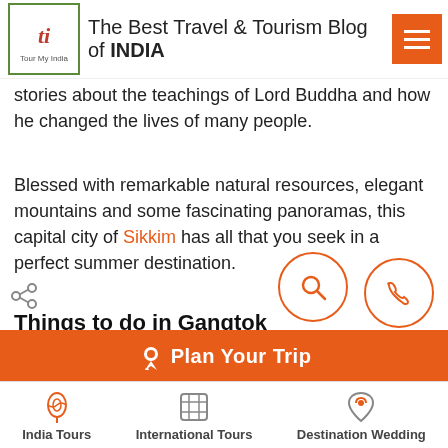The Best Travel & Tourism Blog of INDIA
stories about the teachings of Lord Buddha and how he changed the lives of many people.
Blessed with remarkable natural resources, elegant mountains and some fascinating panoramas, this capital city of Sikkim has all that you seek in a perfect summer destination.
Things to do in Gangtok
Visit the Rumtek Monastery which depicts the spirit of Buddhism
Enjoy the Seven Sisters' Waterfall. As the
Plan Your Trip
India Tours   International Tours   Destination Wedding